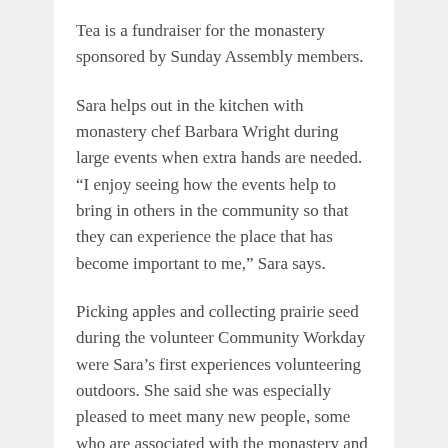Tea is a fundraiser for the monastery sponsored by Sunday Assembly members.
Sara helps out in the kitchen with monastery chef Barbara Wright during large events when extra hands are needed. “I enjoy seeing how the events help to bring in others in the community so that they can experience the place that has become important to me,” Sara says.
Picking apples and collecting prairie seed during the volunteer Community Workday were Sara’s first experiences volunteering outdoors. She said she was especially pleased to meet many new people, some who are associated with the monastery and some who had never been here before and came to help on a beautiful fall day.